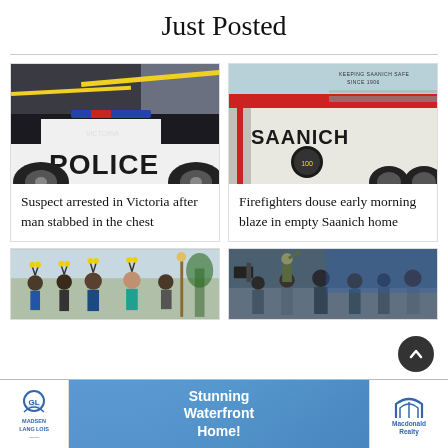Just Posted
[Figure (photo): Victoria Police car with yellow crime scene tape]
Suspect arrested in Victoria after man stabbed in the chest
[Figure (photo): Saanich fire truck close-up, text 'KEEPING SAANICH SAFE SINCE 1906' and 'SAANICH']
Firefighters douse early morning blaze in empty Saanich home
[Figure (photo): Group of people wearing bee antennae costumes outdoors]
[Figure (photo): Group of people in military/event setting]
[Figure (other): Advertisement: Madsen Langlois - Stunning Waterfront Home! - Macdonald Realty]